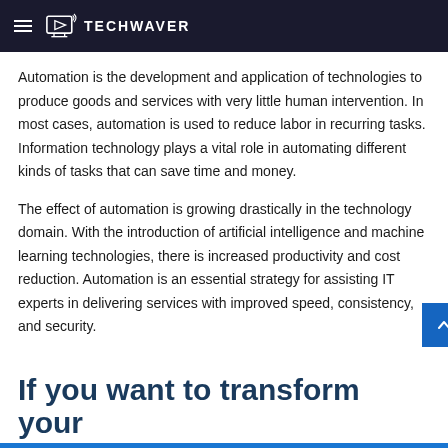TECHWAVER
Automation is the development and application of technologies to produce goods and services with very little human intervention. In most cases, automation is used to reduce labor in recurring tasks. Information technology plays a vital role in automating different kinds of tasks that can save time and money.
The effect of automation is growing drastically in the technology domain. With the introduction of artificial intelligence and machine learning technologies, there is increased productivity and cost reduction. Automation is an essential strategy for assisting IT experts in delivering services with improved speed, consistency, and security.
If you want to transform your